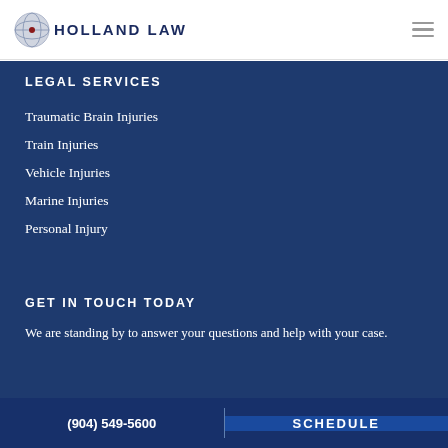HOLLAND LAW
LEGAL SERVICES
Traumatic Brain Injuries
Train Injuries
Vehicle Injuries
Marine Injuries
Personal Injury
GET IN TOUCH TODAY
We are standing by to answer your questions and help with your case.
(904) 549-5600
SCHEDULE